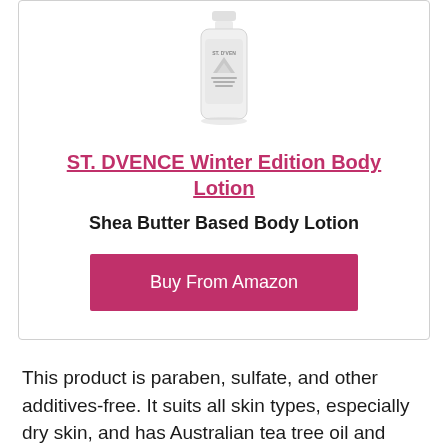[Figure (photo): ST. DVENCE body lotion bottle product photo]
ST. DVENCE Winter Edition Body Lotion
Shea Butter Based Body Lotion
Buy From Amazon
This product is paraben, sulfate, and other additives-free. It suits all skin types, especially dry skin, and has Australian tea tree oil and French olive oil, making it a